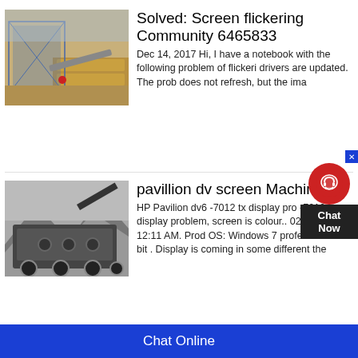[Figure (photo): Outdoor industrial mining/screening equipment with a metal frame structure against a sandy/desert backdrop with hay bales]
Solved: Screen flickering Community 6465833
Dec 14, 2017 Hi, I have a notebook with the following problem of flickering drivers are updated. The prob does not refresh, but the ima
[Figure (photo): Large industrial mobile crushing/screening machinery in black and white, set against a rocky mountainous background]
pavillion dv screen Machinery
HP Pavilion dv6 -7012 tx display pro -7012 tx display problem, screen is colour.. 02-26-2013 12:11 AM. Prod OS: Windows 7 professional 64 bit . Display is coming in some different the
[Figure (other): Chat Now widget overlay with red circular icon and dark background]
Chat Online